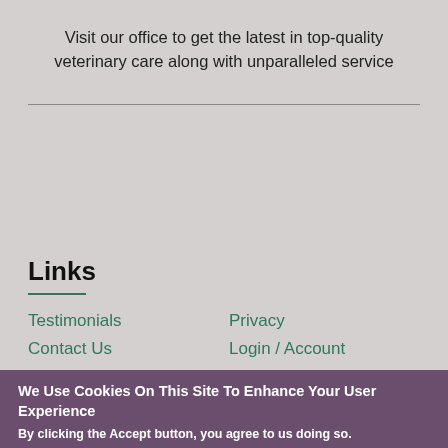Visit our office to get the latest in top-quality veterinary care along with unparalleled service
Links
Testimonials
Privacy
Contact Us
Login / Account
We Use Cookies On This Site To Enhance Your User Experience
By clicking the Accept button, you agree to us doing so.
More info